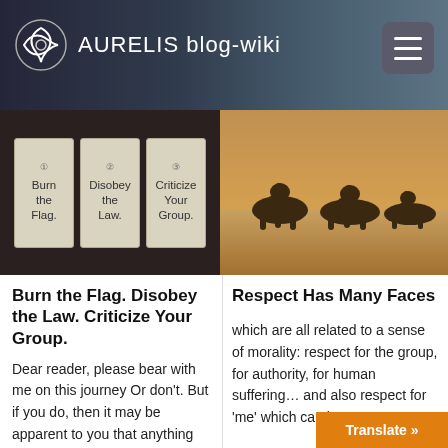AURELIS blog-wiki
[Figure (screenshot): Left image: three cards labeled 'Burn the Flag.', 'Disobey the Law.', 'Criticize Your Group.' on dark background]
[Figure (photo): Camels resting in desert sand]
Burn the Flag. Disobey the Law. Criticize Your Group.
Dear reader, please bear with me on this journey Or don't. But if you do, then it may be apparent to you that anything
Respect Has Many Faces
which are all related to a sense of morality: respect for the group, for authority, for human suffering… and also respect for 'me' which can be e